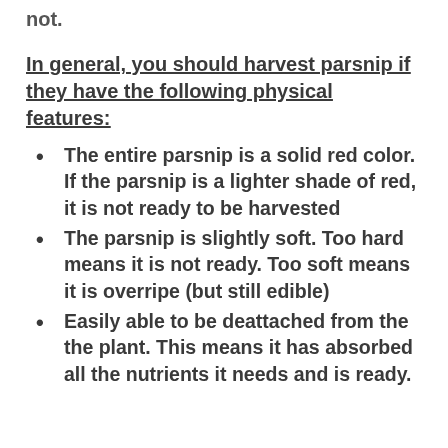they are ready to be picked on the plant or not.
In general, you should harvest parsnip if they have the following physical features:
The entire parsnip is a solid red color. If the parsnip is a lighter shade of red, it is not ready to be harvested
The parsnip is slightly soft. Too hard means it is not ready. Too soft means it is overripe (but still edible)
Easily able to be deattached from the the plant. This means it has absorbed all the nutrients it needs and is ready.